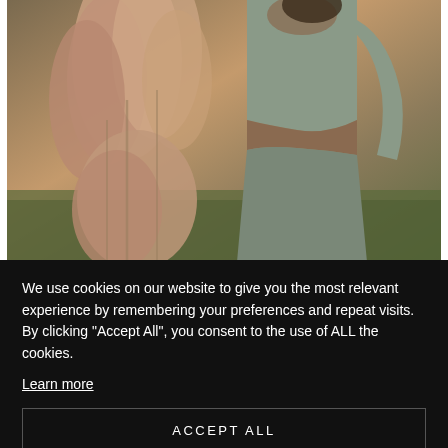[Figure (photo): Fashion photo of a woman wearing a grey crop top and grey draped skirt/pants, standing outdoors near pampas grass with a warm amber/green background.]
FEMME FIERCE
We use cookies on our website to give you the most relevant experience by remembering your preferences and repeat visits. By clicking "Accept All", you consent to the use of ALL the cookies.
Learn more
ACCEPT ALL